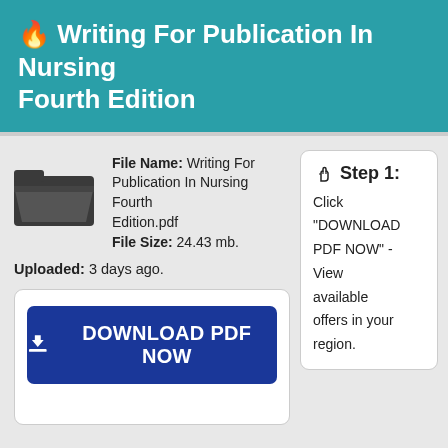🔥 Writing For Publication In Nursing Fourth Edition
File Name: Writing For Publication In Nursing Fourth Edition.pdf
File Size: 24.43 mb.
Uploaded: 3 days ago.
[Figure (illustration): Folder icon (dark grey open folder)]
DOWNLOAD PDF NOW
Step 1: Click "DOWNLOAD PDF NOW" - View available offers in your region.